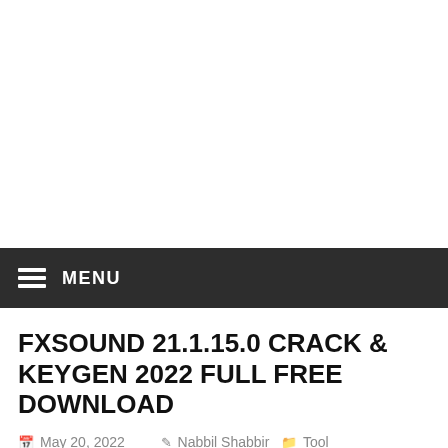MENU
FXSOUND 21.1.15.0 CRACK & KEYGEN 2022 FULL FREE DOWNLOAD
May 20, 2022  Nabbil Shabbir  Tool